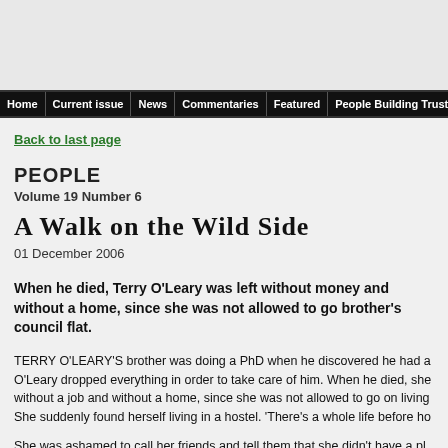Home | Current issue | News | Commentaries | Featured | People Building Trust
Back to last page
PEOPLE
Volume 19 Number 6
A Walk on the Wild Side
01 December 2006
When he died, Terry O'Leary was left without money and without a home, since she was not allowed to go on living in her brother's council flat.
TERRY O'LEARY'S brother was doing a PhD when he discovered he had a a ... O'Leary dropped everything in order to take care of him. When he died, she was left without a job and without a home, since she was not allowed to go on living in ... She suddenly found herself living in a hostel. 'There's a whole life before ho...
She was ashamed to call her friends and tell them that she didn't have a pl...